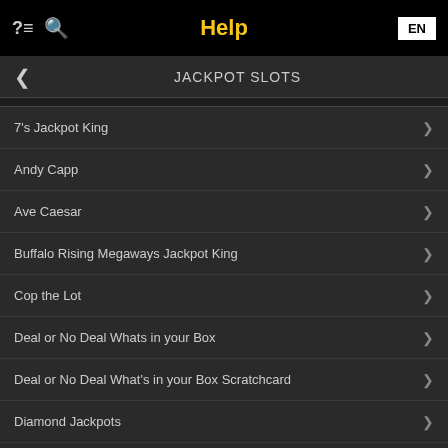Help
JACKPOT SLOTS
7's Jackpot King
Andy Capp
Ave Caesar
Buffalo Rising Megaways Jackpot King
Cop the Lot
Deal or No Deal Whats in your Box
Deal or No Deal What's in your Box Scratchcard
Diamond Jackpots
Deal or No Deal Lightning Spins
Fortunes of Ra